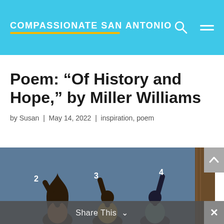COMPASSIONATE SAN ANTONIO
Poem: “Of History and Hope,” by Miller Williams
by Susan | May 14, 2022 | inspiration, poem
[Figure (illustration): Painting showing three silhouetted figures raising their hands against a dark blue background, with numbers 2, 3, 4 written near their raised hands. A wooden post is visible on the right side.]
Share This